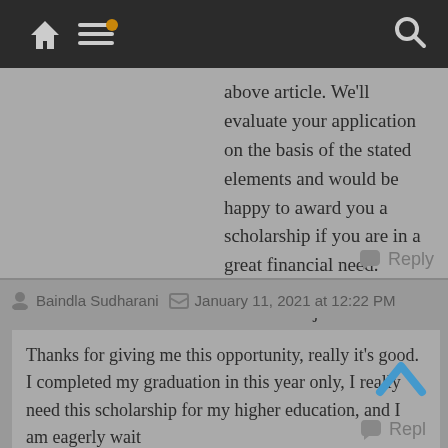Navigation bar with home, menu, and search icons
above article. We'll evaluate your application on the basis of the stated elements and would be happy to award you a scholarship if you are in a great financial need.

Thanks~ Tejas
Reply
Baindla Sudharani  January 11, 2021 at 12:22 PM
Thanks for giving me this opportunity, really it's good. I completed my graduation in this year only, I really need this scholarship for my higher education, and I am eagerly wait ing for your quick response. Thank you so much.
Reply